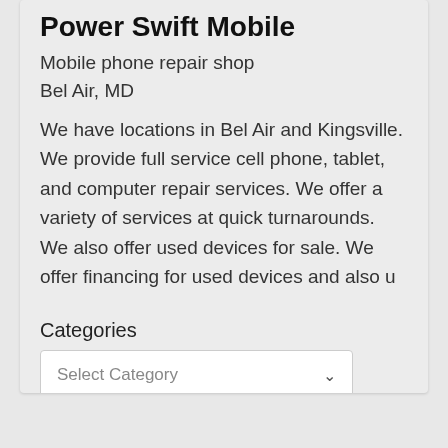Power Swift Mobile
Mobile phone repair shop
Bel Air, MD
We have locations in Bel Air and Kingsville. We provide full service cell phone, tablet, and computer repair services. We offer a variety of services at quick turnarounds. We also offer used devices for sale. We offer financing for used devices and also u
Categories
Select Category